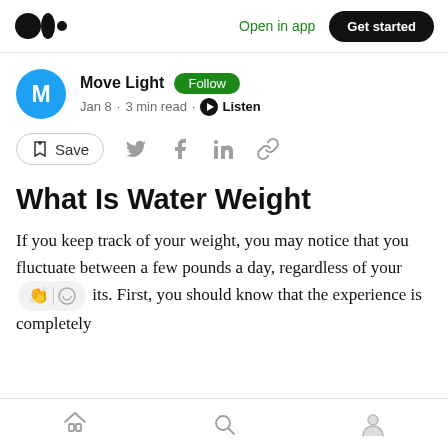Open in app | Get started
Move Light · Follow · Jan 8 · 3 min read · Listen
Save (social sharing icons)
What Is Water Weight
If you keep track of your weight, you may notice that you fluctuate between a few pounds a day, regardless of your its. First, you should know that the experience is completely
Home | Search | Profile